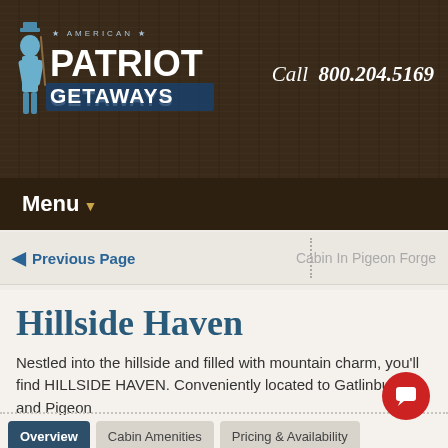[Figure (logo): American Patriot Getaways logo with patriot figure illustration, stars, and bold text on dark wood background]
Call  800.204.5169
Menu
Previous Page
Cabin In Pigeon Forge
Hillside Haven
Nestled into the hillside and filled with mountain charm, you'll find HILLSIDE HAVEN. Conveniently located to Gatlinburg and Pigeon
Read More
Overview  Cabin Amenities  Pricing & Availability